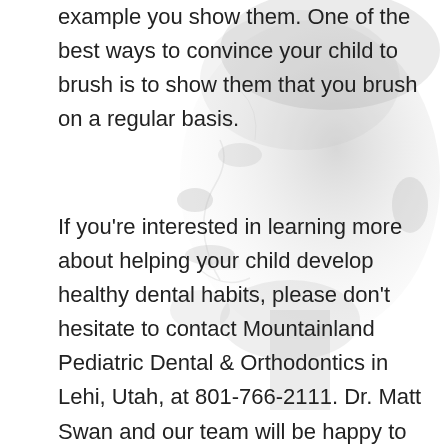[Figure (illustration): Grayscale silhouette/profile illustration of a child's face and head in the background, faded into the white page background]
example you show them. One of the best ways to convince your child to brush is to show them that you brush on a regular basis.
If you're interested in learning more about helping your child develop healthy dental habits, please don't hesitate to contact Mountainland Pediatric Dental & Orthodontics in Lehi, Utah, at 801-766-2111. Dr. Matt Swan and our team will be happy to answer any questions you have. We're eager to hear from you.